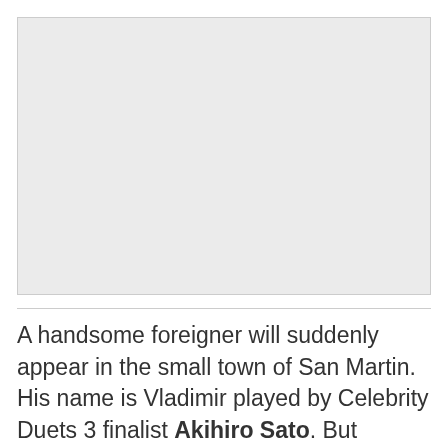[Figure (photo): A large light grey placeholder image area]
A handsome foreigner will suddenly appear in the small town of San Martin. His name is Vladimir played by Celebrity Duets 3 finalist Akihiro Sato. But behind his godlike features is a wicked and vicious vampire who is out to